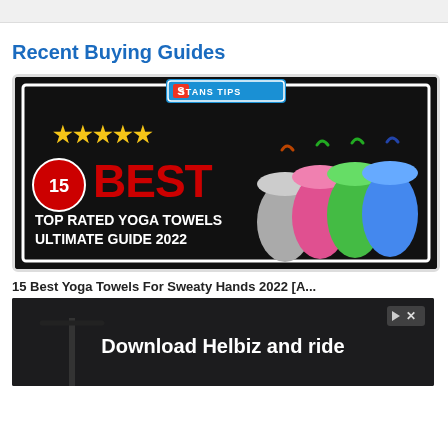Recent Buying Guides
[Figure (photo): Promotional banner for '15 Best Top Rated Yoga Towels Ultimate Guide 2022' with five gold stars, a red number 15 badge, large red 'BEST' text on black background, and colorful rolled yoga towels on the right side. Stan's Tips branding at top.]
15 Best Yoga Towels For Sweaty Hands 2022 [A...
[Figure (photo): Advertisement overlay showing 'Download Helbiz and ride' on a dark background with an e-scooter handlebar visible, and an ad close button (play icon and X) in the top right corner.]